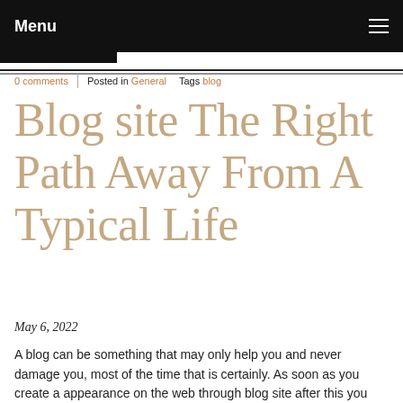Menu
0 comments | Posted in General   Tags blog
Blog site The Right Path Away From A Typical Life
May 6, 2022
A blog can be something that may only help you and never damage you, most of the time that is certainly. As soon as you create a appearance on the web through blog site after this you